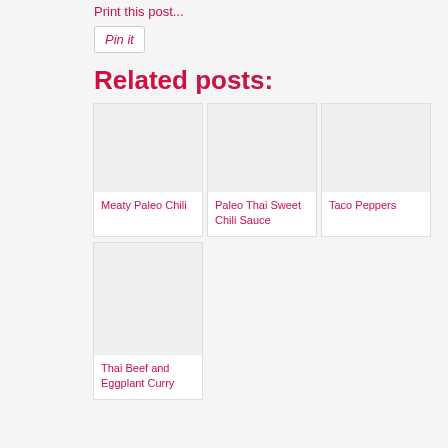Print this post...
[Figure (other): Pin it button]
Related posts:
[Figure (other): Meaty Paleo Chili thumbnail image placeholder]
Meaty Paleo Chili
[Figure (other): Paleo Thai Sweet Chili Sauce thumbnail image placeholder]
Paleo Thai Sweet Chili Sauce
[Figure (other): Taco Peppers thumbnail image placeholder]
Taco Peppers
[Figure (other): Thai Beef and Eggplant Curry thumbnail image placeholder]
Thai Beef and Eggplant Curry